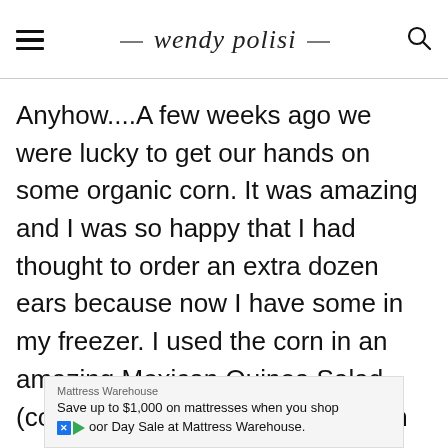wendy polisi
Anyhow....A few weeks ago we were lucky to get our hands on some organic corn. It was amazing and I was so happy that I had thought to order an extra dozen ears because now I have some in my freezer. I used the corn in an amazing Mexican Quinoa Salad (coming soon) as well as this corn cake recipe.
Mattress Warehouse
Save up to $1,000 on mattresses when you shop Labor Day Sale at Mattress Warehouse.